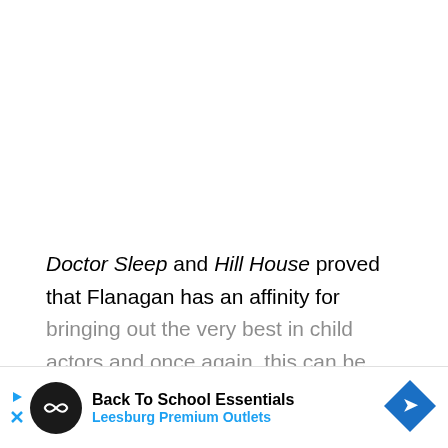Doctor Sleep and Hill House proved that Flanagan has an affinity for bringing out the very best in child actors and once again, this can be applied here. Amelie Smith is a great delight as young Flora Wingrave and Benjamin Evan Ainsworth is excellent as Miles Wingrave. The children offer an entirely opposite perspective to the horrors. They're almost...
[Figure (other): Advertisement banner for 'Back To School Essentials - Leesburg Premium Outlets' with a circular dark logo showing a diamond/infinity symbol, navigation arrows on the left, and a blue diamond road-sign icon on the right.]